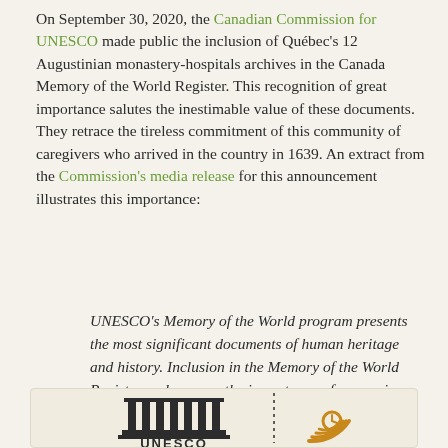On September 30, 2020, the Canadian Commission for UNESCO made public the inclusion of Québec's 12 Augustinian monastery-hospitals archives in the Canada Memory of the World Register. This recognition of great importance salutes the inestimable value of these documents. They retrace the tireless commitment of this community of caregivers who arrived in the country in 1639. An extract from the Commission's media release for this announcement illustrates this importance:
UNESCO's Memory of the World program presents the most significant documents of human heritage and history. Inclusion in the Memory of the World Register underscores the importance of preserving documentary heritage while emphasizing its continued relevance and encouraging it to citizens, students, researchers and the public.
[Figure (logo): UNESCO logo and a circular icon (Memory of the World) shown side by side in a light beige box at the bottom of the page]